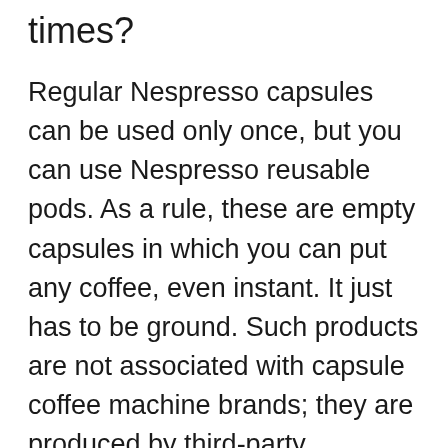times?
Regular Nespresso capsules can be used only once, but you can use Nespresso reusable pods. As a rule, these are empty capsules in which you can put any coffee, even instant. It just has to be ground. Such products are not associated with capsule coffee machine brands; they are produced by third-party manufacturers.
How long does a Nespresso capsule last?